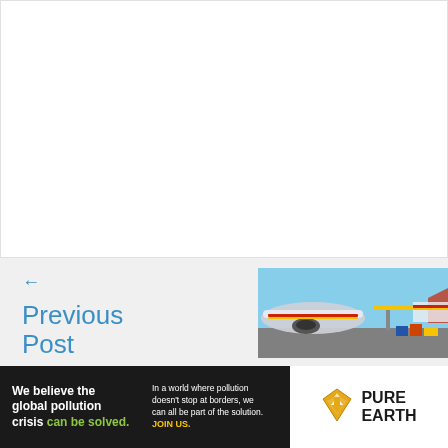[Figure (other): White blank content area / embedded article content region]
← Previous Post
[Figure (photo): Cargo being loaded onto an airplane on a tarmac]
[Figure (infographic): Pure Earth advertisement banner: 'We believe the global pollution crisis can be solved. In a world where pollution doesn't stop at borders, we can all be part of the solution. JOIN US.' with Pure Earth logo]